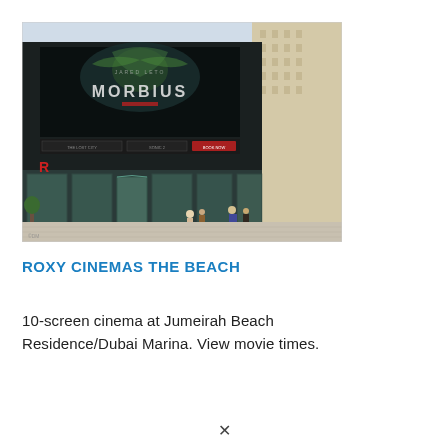[Figure (photo): Exterior photo of Roxy Cinemas The Beach at Jumeirah Beach Residence/Dubai Marina. A large digital billboard showing the movie Morbius is visible on the facade. People are walking in front of the building on a sunny day. Tall residential towers are visible in the background.]
ROXY CINEMAS THE BEACH
10-screen cinema at Jumeirah Beach Residence/Dubai Marina. View movie times.